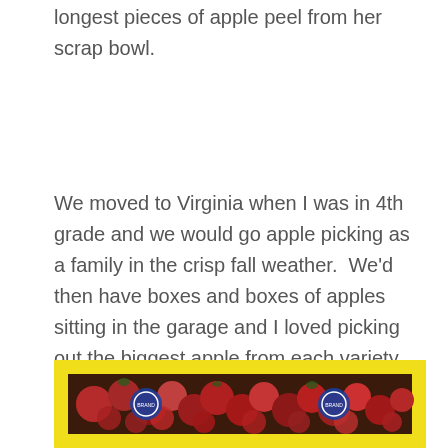longest pieces of apple peel from her scrap bowl.
We moved to Virginia when I was in 4th grade and we would go apple picking as a family in the crisp fall weather.  We'd then have boxes and boxes of apples sitting in the garage and I loved picking out the biggest apple from each variety and eating it plain or with peanut butter.
[Figure (photo): A yellow cardboard box filled with red apples, with blue circular brand stickers on the left and right sides of the box.]